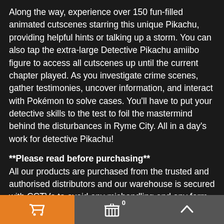Along the way, experience over 150 fun-filled animated cutscenes starring this unique Pikachu, providing helpful hints or talking up a storm. You can also tap the extra-large Detective Pikachu amiibo figure to access all cutscenes up until the current chapter played. As you investigate crime scenes, gather testimonies, uncover information, and interact with Pokémon to solve cases. You'll have to put your detective skills to the test to foil the mastermind behind the disturbances in Ryme City. All in a day's work for detective Pikachu!
**Please read before purchasing** All our products are purchased from the trusted and authorised distributors and our warehouse is secured with CCTVs to avoid any mishandling and any form of inappropriate behavior/action from our staff. We have been in the business for more than 20 years and we always uphold our ethics, values, and standards. All